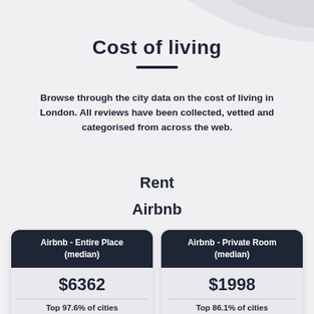Cost of living
Browse through the city data on the cost of living in London. All reviews have been collected, vetted and categorised from across the web.
Rent
Airbnb
| Airbnb - Entire Place (median) | Airbnb - Private Room (median) |
| --- | --- |
| $6362 | $1998 |
| Top 97.6% of cities | Top 86.1% of cities |
| Expensive | Expensive |
| 97.6% | 86.1% |